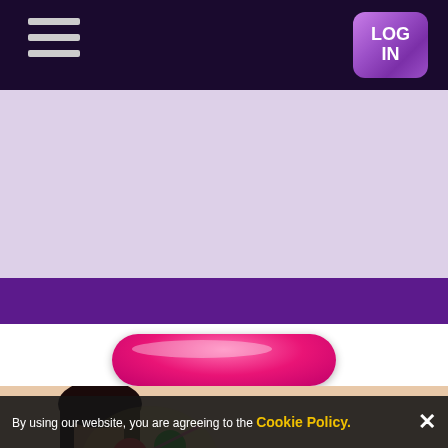[Figure (screenshot): Dark purple navigation header bar with hamburger menu icon (three horizontal lines) on the left and a purple LOG IN button on the right]
[Figure (screenshot): Light lavender/mauve colored band forming the main hero/banner area of the website]
[Figure (screenshot): Deep purple horizontal band below the lavender area]
[Figure (screenshot): Pink glossy rounded rectangular button in the center of a white area]
[Figure (photo): Photo of an Asian woman smiling with dark hair, with colorful game balls/bubbles and FREE SLOT GAMES text overlay on the right side]
By using our website, you are agreeing to the Cookie Policy.